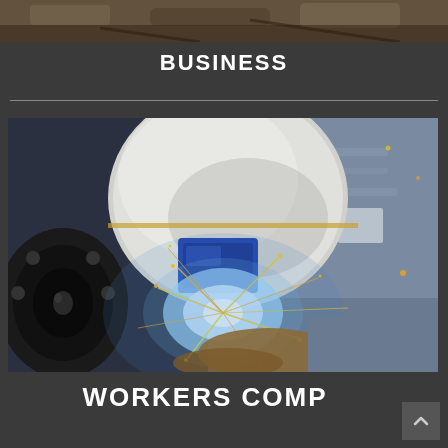[Figure (photo): Partial top view of a dirt/gravel outdoor scene, cropped at the top of the page]
BUSINESS
[Figure (photo): A welder wearing a white welding helmet and gray work jacket welding a pipe flange, with bright blue sparks and glowing light from the weld]
WORKERS COMP